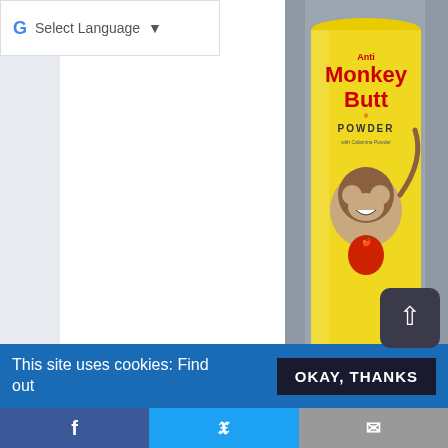G Select Language ▼
[Figure (photo): Photo of Anti Monkey Butt Powder can with a cartoon monkey on a yellow label, photographed against a gray background.]
May 11, 2019 – Parkinson's Weekly Update
Weekly Update - Highlights include: Mayo Clinic researchers explore the relationship between low levels of Vitamin B-12 and Parkinson's; appendix removal might or might not affect Parkinson's risk; monkey butt research finds PD...
This site uses cookies: Find out
OKAY, THANKS